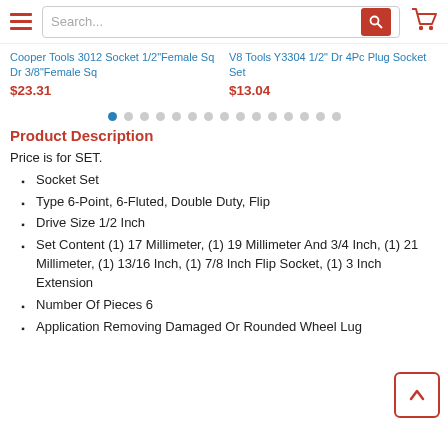Navigation bar with hamburger menu, search box, and cart icon
Cooper Tools 3012 Socket 1/2"Female Sq Dr 3/8"Female Sq
$23.31
V8 Tools Y3304 1/2" Dr 4Pc Plug Socket Set
$13.04
Product Description
Price is for SET.
Socket Set
Type 6-Point, 6-Fluted, Double Duty, Flip
Drive Size 1/2 Inch
Set Content (1) 17 Millimeter, (1) 19 Millimeter And 3/4 Inch, (1) 21 Millimeter, (1) 13/16 Inch, (1) 7/8 Inch Flip Socket, (1) 3 Inch Extension
Number Of Pieces 6
Application Removing Damaged Or Rounded Wheel Lug